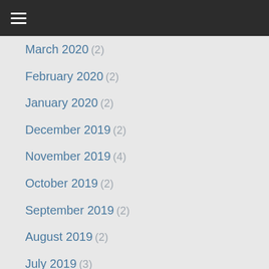Navigation menu header bar
March 2020 (2)
February 2020 (2)
January 2020 (2)
December 2019 (2)
November 2019 (4)
October 2019 (2)
September 2019 (2)
August 2019 (2)
July 2019 (3)
May 2019 (2)
January 2019 (2)
December 2018 (5)
November 2018 (1)